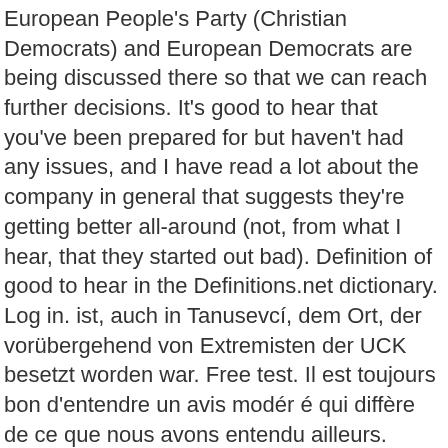European People's Party (Christian Democrats) and European Democrats are being discussed there so that we can reach further decisions. It's good to hear that you've been prepared for but haven't had any issues, and I have read a lot about the company in general that suggests they're getting better all-around (not, from what I hear, that they started out bad). Definition of good to hear in the Definitions.net dictionary. Log in. ist, auch in Tanusevcí, dem Ort, der vorübergehend von Extremisten der UCK besetzt worden war. Free test. Il est toujours bon d'entendre un avis modér é qui diffère de ce que nous avons entendu ailleurs. Contextual translation of "thats good to hear" into English. That's what i like to hear. It's always good to hear a sobering view that's different from what we have heard. Englisch-Deutsch-Übersetzungen für That's good to hear im Online-Wörterbuch dict.cc (Deutschwörterbuch). Shortly before you called him, he lost temporarily his hearing. (it's) good to hear your voice I'm glad I'm speaking to you on the phone (or other calling platform). High quality example